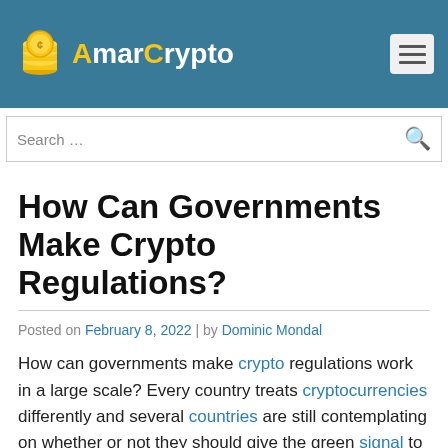AmarCrypto
How can governments make crypto regulations work in a large scale? Every country treats cryptocurrencies differently and several countries are still contemplating on whether or not they should give the green signal to it
How Can Governments Make Crypto Regulations?
Posted on February 8, 2022 | by Dominic Mondal